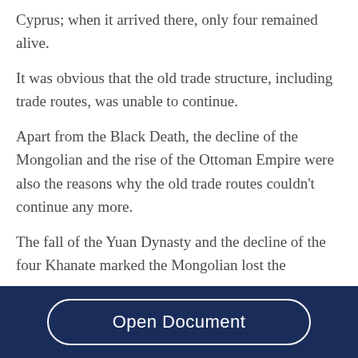Cyprus; when it arrived there, only four remained alive. It was obvious that the old trade structure, including trade routes, was unable to continue. Apart from the Black Death, the decline of the Mongolian and the rise of the Ottoman Empire were also the reasons why the old trade routes couldn't continue any more. The fall of the Yuan Dynasty and the decline of the four Khanate marked the Mongolian lost the
Open Document